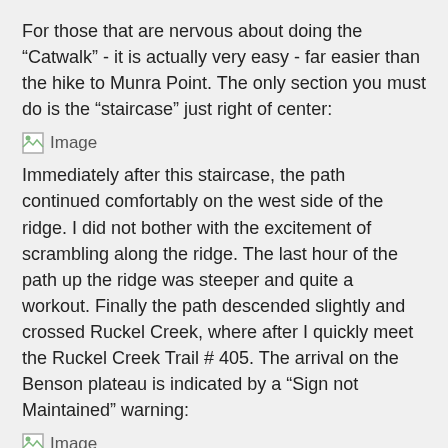For those that are nervous about doing the “Catwalk” - it is actually very easy - far easier than the hike to Munra Point. The only section you must do is the “staircase” just right of center:
[Figure (photo): Broken image placeholder labeled 'Image']
Immediately after this staircase, the path continued comfortably on the west side of the ridge. I did not bother with the excitement of scrambling along the ridge. The last hour of the path up the ridge was steeper and quite a workout. Finally the path descended slightly and crossed Ruckel Creek, where after I quickly meet the Ruckel Creek Trail # 405. The arrival on the Benson plateau is indicated by a “Sign not Maintained” warning:
[Figure (photo): Broken image placeholder labeled 'Image']
After a little searching in the open forest on the far side of the Ruckel Creek Trail, I met faint yellow spots, blazes and orange ribbons indicating the Rudolph Spur Trail about 50 yards into the forest. After a few hundred yards there was actually a faint trail:
[Figure (photo): Broken image placeholder labeled 'Image']